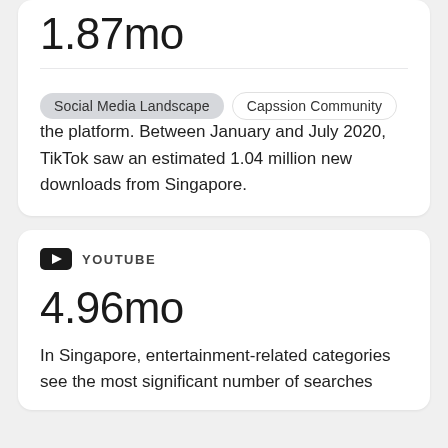1.87mo
Social Media Landscape
Capssion Community
the platform. Between January and July 2020, TikTok saw an estimated 1.04 million new downloads from Singapore.
YOUTUBE
4.96mo
In Singapore, entertainment-related categories see the most significant number of searches